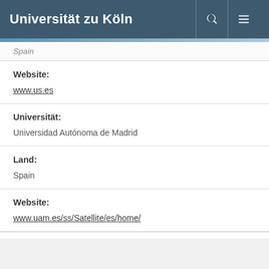Universität zu Köln
Spain
Website:
www.us.es
Universität:
Universidad Autónoma de Madrid
Land:
Spain
Website:
www.uam.es/ss/Satellite/es/home/